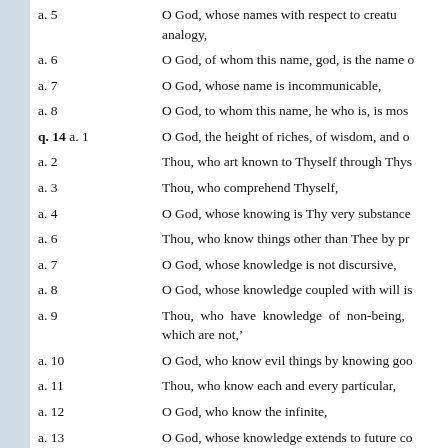a. 5 — O God, whose names with respect to creatures are predicated by analogy,
a. 6 — O God, of whom this name, god, is the name of
a. 7 — O God, whose name is incommunicable,
a. 8 — O God, to whom this name, he who is, is most
q. 14 a. 1 — O God, the height of riches, of wisdom, and of
a. 2 — Thou, who art known to Thyself through Thys
a. 3 — Thou, who comprehend Thyself,
a. 4 — O God, whose knowing is Thy very substance
a. 6 — Thou, who know things other than Thee by pr
a. 7 — O God, whose knowledge is not discursive,
a. 8 — O God, whose knowledge coupled with will is
a. 9 — Thou, who have knowledge of non-being, which are not,'
a. 10 — O God, who know evil things by knowing goo
a. 11 — Thou, who know each and every particular,
a. 12 — O God, who know the infinite,
a. 13 — O God, whose knowledge extends to future co
a. 15 — O God, whose knowledge is unvarying,